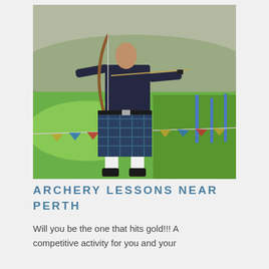[Figure (photo): A man wearing a blue/green tartan kilt and dark navy t-shirt drawing a bow and arrow in an outdoor field setting. Bunting flags are visible in the background on a bright grassy field with hills behind.]
ARCHERY LESSONS NEAR PERTH
Will you be the one that hits gold!!! A competitive activity for you and your